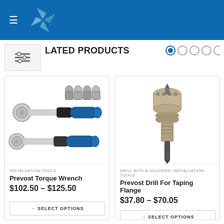[Figure (logo): Blue pinwheel/windmill logo on blue header background with hamburger menu icon]
RELATED PRODUCTS
[Figure (screenshot): Carousel navigation dots - one filled, four empty circles]
[Figure (photo): Prevost Torque Wrench - two torque wrenches with blue handles and socket set]
INSTALLATION TOOLS
Prevost Torque Wrench
$102.50 – $125.50
→ SELECT OPTIONS
[Figure (photo): Prevost Drill For Taping Flange - cylindrical drill bit/flange tool]
DRILL BITS & HOLDERS, INSTALLATION TOOLS
Prevost Drill For Taping Flange
$37.80 – $70.05
→ SELECT OPTIONS